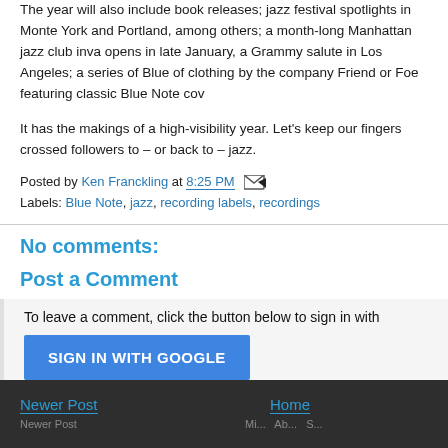The year will also include book releases; jazz festival spotlights in Monte York and Portland, among others; a month-long Manhattan jazz club inva opens in late January, a Grammy salute in Los Angeles; a series of Blue of clothing by the company Friend or Foe featuring classic Blue Note cov
It has the makings of a high-visibility year. Let’s keep our fingers crossed followers to – or back to – jazz.
Posted by Ken Franckling at 8:25 PM
Labels: Blue Note, jazz, recording labels, recordings
No comments:
Post a Comment
To leave a comment, click the button below to sign in with
SIGN IN WITH GOOGLE
Newer Post    Home